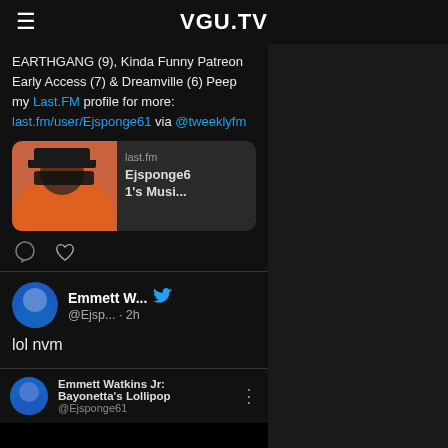VGU.TV
EARTHGANG (9), Kinda Funny Patreon Early Access (7) & Dreamville (6) Peep my Last.FM profile for more: last.fm/user/Ejsponge61 via @tweeklyfm
[Figure (screenshot): Last.fm preview card showing profile photo of Ejsponge61 and text 'last.fm / Ejsponge61's Musi...']
lol nvm
Emmett Watkins Jr: Bayonetta's Lollipop @Ejsponge61